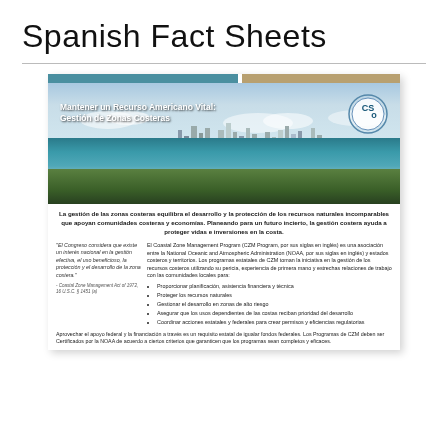Spanish Fact Sheets
[Figure (illustration): Fact sheet cover image showing a coastal city (Honolulu/Waikiki style) with ocean, skyline, and green hills. Title text overlaid: 'Mantener un Recurso Americano Vital: Gestión de Zonas Costeras'. CSO logo in top right corner. Teal and tan color bars at top.]
La gestión de las zonas costeras equilibra el desarrollo y la protección de los recursos naturales incomparables que apoyan comunidades costeras y economías. Planeando para un futuro incierto, la gestión costera ayuda a proteger vidas e inversiones en la costa.
"El Congreso considera que existe un interés nacional en la gestión efectiva, el uso beneficioso, la protección y el desarrollo de la zona costera."
- Coastal Zone Management Act of 1972, 16 U.S.C. § 1451 (a)
El Coastal Zone Management Program (CZM Program, por sus siglas en inglés) es una asociación entre la National Oceanic and Atmospheric Administration (NOAA, por sus siglas en inglés) y estados costeros y territorios. Los programas estatales de CZM toman la iniciativa en la gestión de los recursos costeros utilizando su pericia, experiencia de primera mano y estrechas relaciones de trabajo con las comunidades locales para:
Proporcionar planificación, asistencia financiera y técnica
Proteger los recursos naturales
Gestionar el desarrollo en zonas de alto riesgo
Asegurar que los usos dependientes de las costas reciban prioridad del desarrollo
Coordinar acciones estatales y federales para crear permisos y eficiencias regulatorias
Aprovechar el apoyo federal y la financiación a través es un requisito estatal de igualar fondos federales. Los Programas de CZM deben ser Certificados por la NOAA de acuerdo a ciertos criterios que garanticen que los programas sean completos y eficaces.